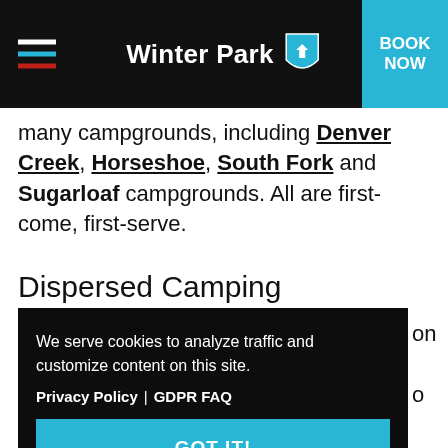Winter Park — BOOK NOW
many campgrounds, including Denver Creek, Horseshoe, South Fork and Sugarloaf campgrounds. All are first-come, first-serve.
Dispersed Camping
We serve cookies to analyze traffic and customize content on this site.
Privacy Policy | GDPR FAQ
GOT IT!